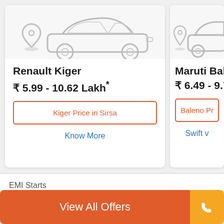[Figure (illustration): Car illustration for Renault Kiger card — grey outline of a sedan/SUV viewed from the side with location pin icon]
Renault Kiger
₹ 5.99 - 10.62 Lakh*
Kiger Price in Sirsa
Know More
[Figure (illustration): Car illustration for Maruti Baleno card — grey outline of a hatchback viewed from the side with location pin icon]
Maruti Baleno
₹ 6.49 - 9.71 L
Baleno Pr...
Swift v...
EMI Starts
₹ 12,465 /Month  Edit
Interest calculated at 9.8% for 60 months
View All Offers